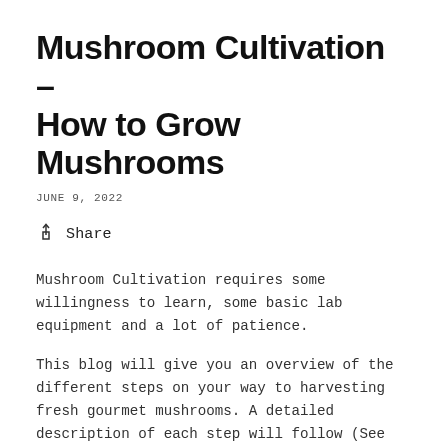Mushroom Cultivation – How to Grow Mushrooms
JUNE 9, 2022
Share
Mushroom Cultivation requires some willingness to learn, some basic lab equipment and a lot of patience.
This blog will give you an overview of the different steps on your way to harvesting fresh gourmet mushrooms. A detailed description of each step will follow (See the first one: How to Prepare Spawn).
The easiest way to grow your own Mushrooms at home is a Mushroom Grow Kit. You can get ones that are already fully colonized and ready to fruit, or you can purchase a kit consisting